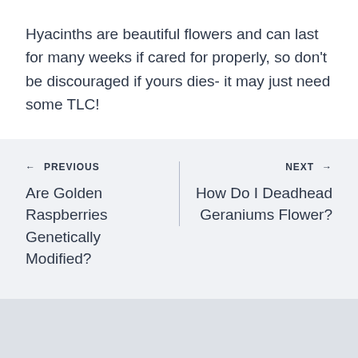Hyacinths are beautiful flowers and can last for many weeks if cared for properly, so don't be discouraged if yours dies- it may just need some TLC!
← PREVIOUS
Are Golden Raspberries Genetically Modified?
NEXT →
How Do I Deadhead Geraniums Flower?